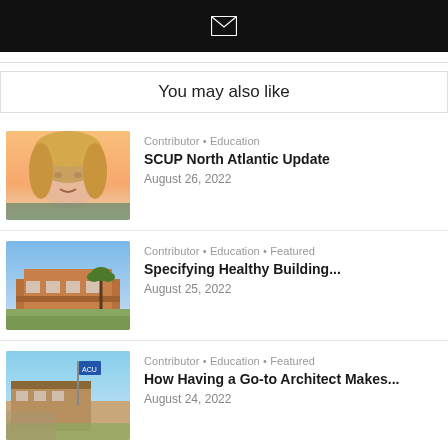[Figure (other): Black bar with white email envelope icon]
You may also like
[Figure (photo): Headshot of a smiling woman with blonde hair outdoors]
Contributor • Education
SCUP North Atlantic Update
August 26, 2022
[Figure (photo): Exterior of a modern brick educational building with palm trees]
Contributor • Education • Featured
Specifying Healthy Building...
August 25, 2022
[Figure (photo): Campus building exterior with blue flag banner and clear sky]
Contributor • Education • Featured
How Having a Go-to Architect Makes...
August 24, 2022
[Figure (photo): Dark background with green glowing bar chart data visualization]
Contributor • Featured
Construction and Engineering...